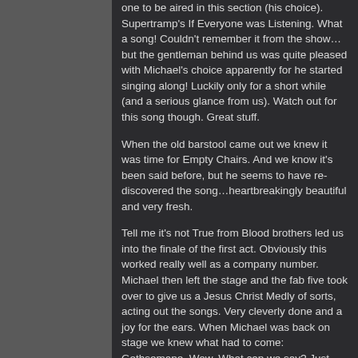one to be aired in this section (his choice). Supertramp's If Everyone was Listening. What a song! Couldn't remember it from the show…but the gentleman behind us was quite pleased with Michael's choice apparently for he started singing along! Luckily only for a short while (and a serious glance from us). Watch out for this song though. Great stuff.
When the old barstool came out we knew it was time for Empty Chairs. And we know it's been said before, but he seems to have re-discovered the song…heartbreakingly beautiful and very fresh.
Tell me it's not True from Blood brothers led us into the finale of the first act. Obviously this worked really well as a company number. Michael then left the stage and the fab five took over to give us a Jesus Christ Medly of sorts, acting out the songs. Very cleverly done and a joy for the ears. When Michael was back on stage we knew what had to come: Gethsemane. Wow. What can we say? Just wow. His voice….the emotion…everything was just perfect. A sublime stage moment